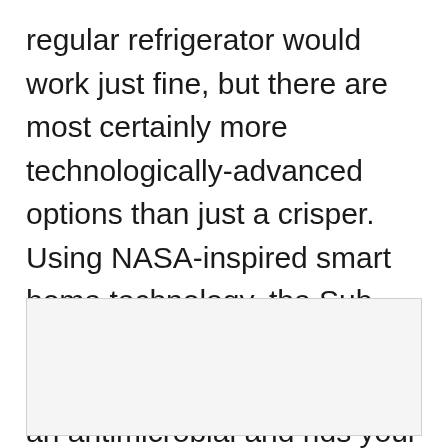regular refrigerator would work just fine, but there are most certainly more technologically-advanced options than just a crisper. Using NASA-inspired smart home technology, the Sub-Zero IT 36CIID has an air-purifying function that acts as an antimicrobial and rids your fridge of mold every 20 minutes.
[Figure (other): Empty light gray image placeholder box]